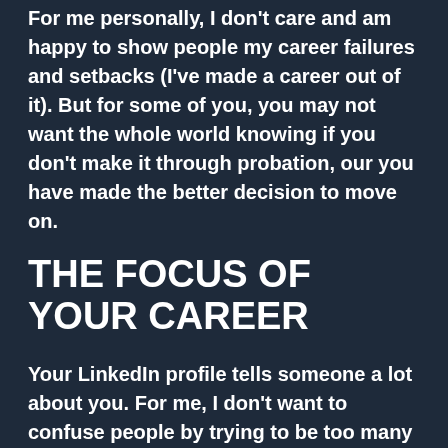For me personally, I don't care and am happy to show people my career failures and setbacks (I've made a career out of it). But for some of you, you may not want the whole world knowing if you don't make it through probation, our you have made the better decision to move on.
THE FOCUS OF YOUR CAREER
Your LinkedIn profile tells someone a lot about you. For me, I don't want to confuse people by trying to be too many things to too many people.
I have chosen (for now) to make my LinkedIn profile about my career only and not have any connection to my day job. This allows people to discover who I am and not the sales version of Mark that you see during business hours.